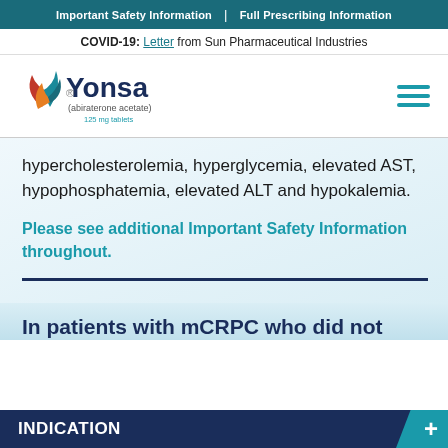Important Safety Information | Full Prescribing Information
COVID-19: Letter from Sun Pharmaceutical Industries
[Figure (logo): Yonsa (abiraterone acetate) 125 mg tablets logo with leaf/flame icon in red, orange, and teal]
hypercholesterolemia, hyperglycemia, elevated AST, hypophosphatemia, elevated ALT and hypokalemia.
Please see additional Important Safety Information throughout.
In patients with mCRPC who did not
INDICATION